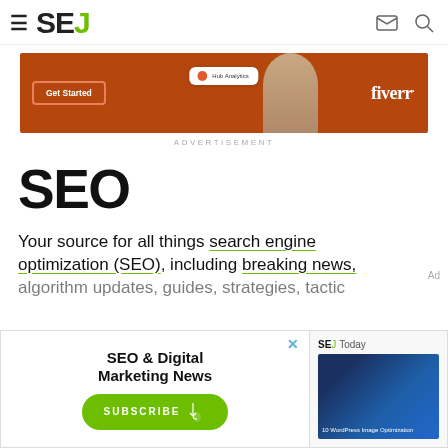SEJ — Search Engine Journal header with hamburger menu, logo, mail and search icons
[Figure (screenshot): Fiverr advertisement banner with orange/brown background, Get Started button, analytics tag, woman figure, and Fiverr logo]
ADVERTISEMENT
SEO
Your source for all things search engine optimization (SEO), including breaking news, algorithm updates, guides, strategies, tactics, tips m...
[Figure (screenshot): Email subscription popup with SEO & Digital Marketing News headline, SUBSCRIBE button with hand cursor, SEJ Today panel with blue image and WordPress Image Optimization caption]